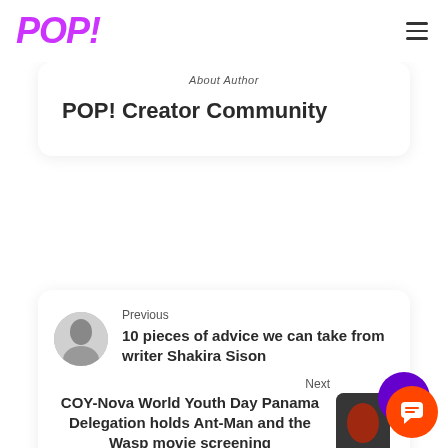POP!
About Author
POP! Creator Community
Previous
10 pieces of advice we can take from writer Shakira Sison
Next
COY-Nova World Youth Day Panama Delegation holds Ant-Man and the Wasp movie screening